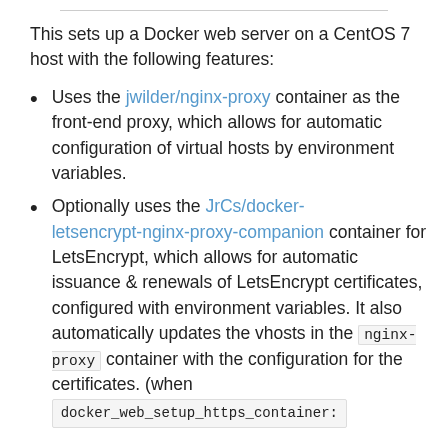This sets up a Docker web server on a CentOS 7 host with the following features:
Uses the jwilder/nginx-proxy container as the front-end proxy, which allows for automatic configuration of virtual hosts by environment variables.
Optionally uses the JrCs/docker-letsencrypt-nginx-proxy-companion container for LetsEncrypt, which allows for automatic issuance & renewals of LetsEncrypt certificates, configured with environment variables. It also automatically updates the vhosts in the nginx-proxy container with the configuration for the certificates. (when docker_web_setup_https_container: